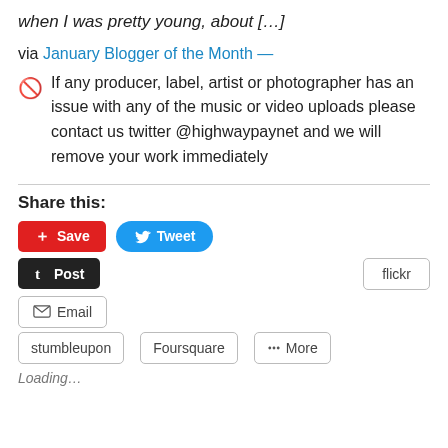when I was pretty young, about […]
via January Blogger of the Month —
🚫  If any producer, label, artist or photographer has an issue with any of the music or video uploads please contact us twitter @highwaypaynet and we will remove your work immediately
Share this:
Save  Tweet  Post  flickr  Email  stumbleupon  Foursquare  More
Loading...